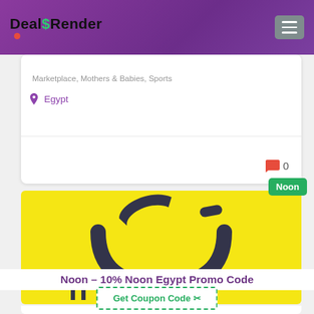DealSRender
Marketplace, Mothers & Babies, Sports
Egypt
0
[Figure (logo): Noon brand logo on yellow background with arabic numeral 3 style smile icon and text 'noon']
Noon
Noon – 10% Noon Egypt Promo Code
Get Coupon Code